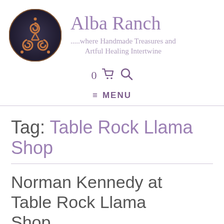[Figure (logo): Round Celtic triskelion logo with copper/bronze spiral design on dark background]
Alba Ranch
.....where Handmade Treasures and Artful Healing Intertwine
0 🛒 🔍
≡ MENU
Tag: Table Rock Llama Shop
Norman Kennedy at Table Rock Llama Shop
Posted on March 11, 2011
This